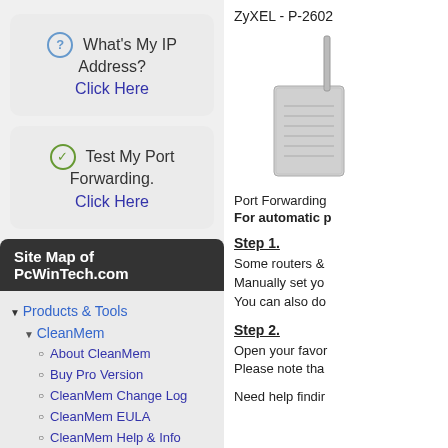What's My IP Address?
Click Here
Test My Port Forwarding.
Click Here
Site Map of PcWinTech.com
Products & Tools
CleanMem
About CleanMem
Buy Pro Version
CleanMem Change Log
CleanMem EULA
CleanMem Help & Info
ZyXEL - P-2602
[Figure (photo): ZyXEL P-2602 router device]
Port Forwarding
For automatic p
Step 1.
Some routers &
Manually set yo
You can also do
Step 2.
Open your favor
Please note tha
Need help findir